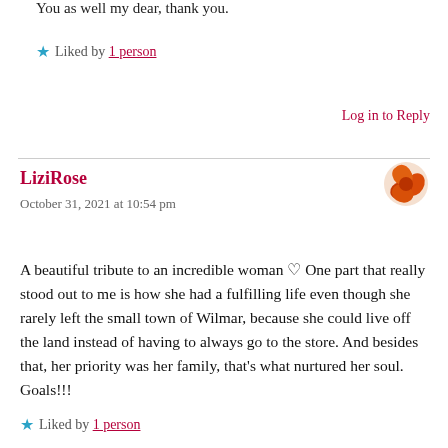You as well my dear, thank you.
Liked by 1 person
Log in to Reply
LiziRose
October 31, 2021 at 10:54 pm
A beautiful tribute to an incredible woman ♡ One part that really stood out to me is how she had a fulfilling life even though she rarely left the small town of Wilmar, because she could live off the land instead of having to always go to the store. And besides that, her priority was her family, that's what nurtured her soul. Goals!!!
Liked by 1 person